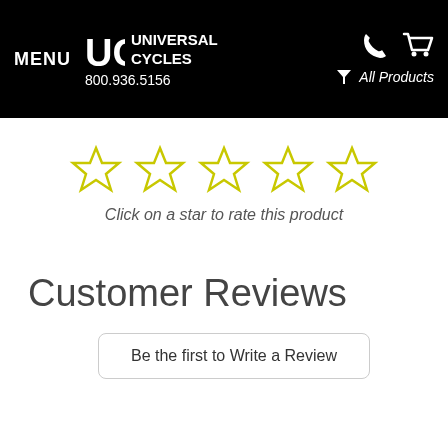MENU | UC UNIVERSAL CYCLES | 800.936.5156 | All Products
[Figure (other): Five empty star rating icons (yellow outline) for rating a product]
Click on a star to rate this product
Customer Reviews
Be the first to Write a Review